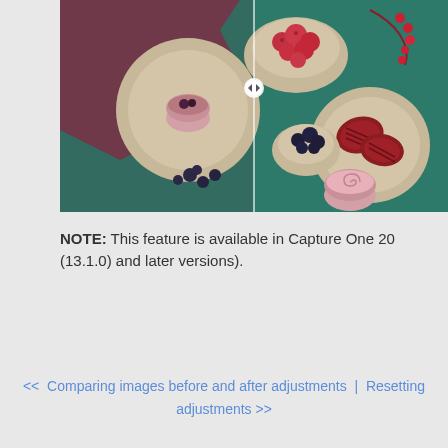[Figure (photo): Split-screen comparison photo showing food styling scene with dishes, bowls of berries, and a pink dessert on a dark teal/green background with a maroon fabric. Left half appears slightly different color treatment than right half, with a split slider control visible in the center.]
NOTE: This feature is available in Capture One 20 (13.1.0) and later versions).
<< Comparing images before and after adjustments | Resetting adjustments >>